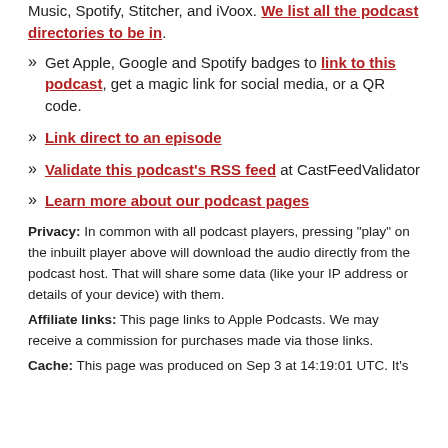Music, Spotify, Stitcher, and iVoox. We list all the podcast directories to be in.
Get Apple, Google and Spotify badges to link to this podcast, get a magic link for social media, or a QR code.
Link direct to an episode
Validate this podcast's RSS feed at CastFeedValidator
Learn more about our podcast pages
Privacy: In common with all podcast players, pressing "play" on the inbuilt player above will download the audio directly from the podcast host. That will share some data (like your IP address or details of your device) with them.
Affiliate links: This page links to Apple Podcasts. We may receive a commission for purchases made via those links.
Cache: This page was produced on Sep 3 at 14:19:01 UTC. It's